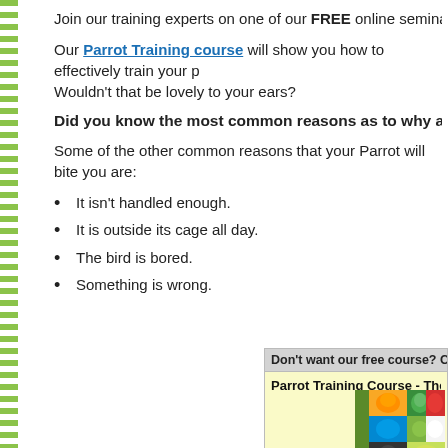Join our training experts on one of our FREE online seminars and learn ho
Our Parrot Training course will show you how to effectively train your p Wouldn't that be lovely to your ears?
Did you know the most common reasons as to why a Parrot screams
Some of the other common reasons that your Parrot will bite you are:
It isn't handled enough.
It is outside its cage all day.
The bird is bored.
Something is wrong.
Don't want our free course? Check out our pr
Parrot Training Course - The Ult
[Figure (photo): Book cover of Parrot Training Course - The Ultimate Guide, showing a collage of colorful parrots]